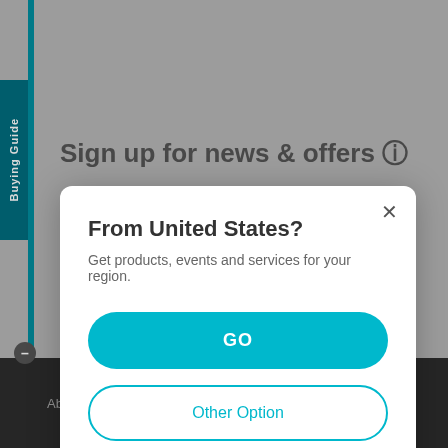[Figure (screenshot): Website background showing a gray page with 'Sign up for news & offers' heading, teal vertical tabs labeled 'Buying Guide' and 'FREE Site Survey' on the left, a dark footer bar with 'About Us', 'Press', 'Where to Buy' links, and a modal dialog overlay]
From United States?
Get products, events and services for your region.
GO
Other Option
About Us   Press   Where to Buy